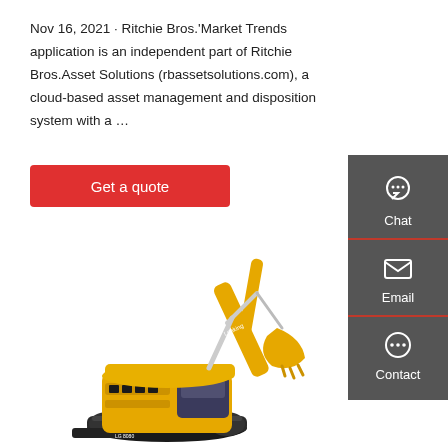Nov 16, 2021 · Ritchie Bros.'Market Trends application is an independent part of Ritchie Bros.Asset Solutions (rbassetsolutions.com), a cloud-based asset management and disposition system with a …
[Figure (other): Red button labelled 'Get a quote']
[Figure (other): Sidebar with Chat, Email, Contact icons on dark grey background]
[Figure (photo): Yellow Lonking excavator/crawler machine on white background]